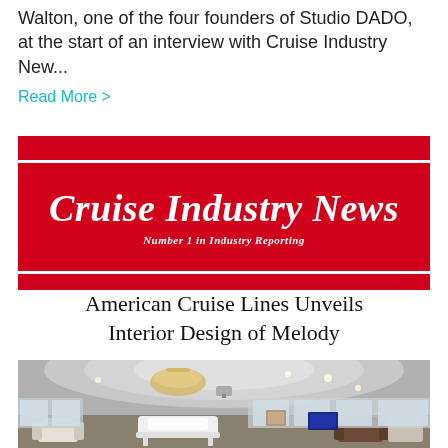Walton, one of the four founders of Studio DADO, at the start of an interview with Cruise Industry New...
Read More >
[Figure (logo): Cruise Industry News banner logo — red background with white italic bold serif text 'Cruise Industry News' and subtitle 'Number 1 in Industry Reporting']
American Cruise Lines Unveils Interior Design of Melody
[Figure (photo): Interior of a cruise ship lounge/entertainment room with white grand piano, elegant chandelier, cream and brown seating, panoramic windows, recessed ceiling lighting, and a projector screen.]